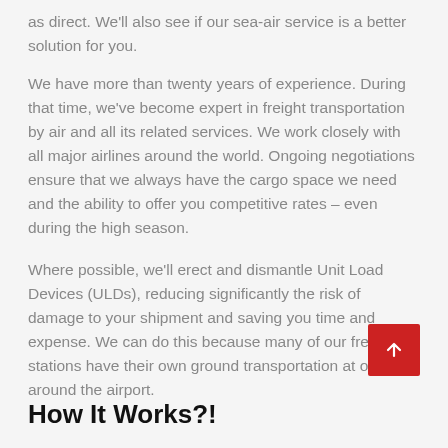as direct. We'll also see if our sea-air service is a better solution for you.
We have more than twenty years of experience. During that time, we've become expert in freight transportation by air and all its related services. We work closely with all major airlines around the world. Ongoing negotiations ensure that we always have the cargo space we need and the ability to offer you competitive rates – even during the high season.
Where possible, we'll erect and dismantle Unit Load Devices (ULDs), reducing significantly the risk of damage to your shipment and saving you time and expense. We can do this because many of our freight stations have their own ground transportation at or around the airport.
How It Works?!